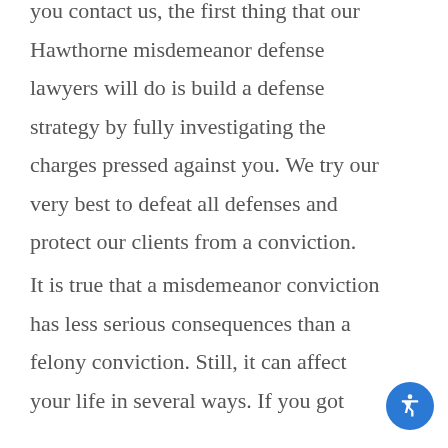you contact us, the first thing that our Hawthorne misdemeanor defense lawyers will do is build a defense strategy by fully investigating the charges pressed against you. We try our very best to defeat all defenses and protect our clients from a conviction.
It is true that a misdemeanor conviction has less serious consequences than a felony conviction. Still, it can affect your life in several ways. If you got